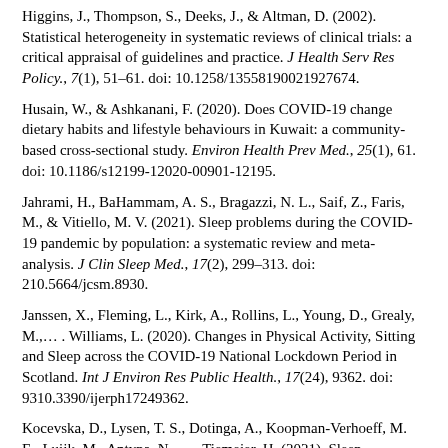Higgins, J., Thompson, S., Deeks, J., & Altman, D. (2002). Statistical heterogeneity in systematic reviews of clinical trials: a critical appraisal of guidelines and practice. J Health Serv Res Policy., 7(1), 51–61. doi: 10.1258/13558190021927674.
Husain, W., & Ashkanani, F. (2020). Does COVID-19 change dietary habits and lifestyle behaviours in Kuwait: a community-based cross-sectional study. Environ Health Prev Med., 25(1), 61. doi: 10.1186/s12199-12020-00901-12195.
Jahrami, H., BaHammam, A. S., Bragazzi, N. L., Saif, Z., Faris, M., & Vitiello, M. V. (2021). Sleep problems during the COVID-19 pandemic by population: a systematic review and meta-analysis. J Clin Sleep Med., 17(2), 299–313. doi: 210.5664/jcsm.8930.
Janssen, X., Fleming, L., Kirk, A., Rollins, L., Young, D., Grealy, M.,... Williams, L. (2020). Changes in Physical Activity, Sitting and Sleep across the COVID-19 National Lockdown Period in Scotland. Int J Environ Res Public Health., 17(24), 9362. doi: 9310.3390/ijerph17249362.
Kocevska, D., Lysen, T. S., Dotinga, A., Koopman-Verhoeff, M. E., Luijk, M., Antypa, N.,... Tiemeier, H. (2021). Sleep